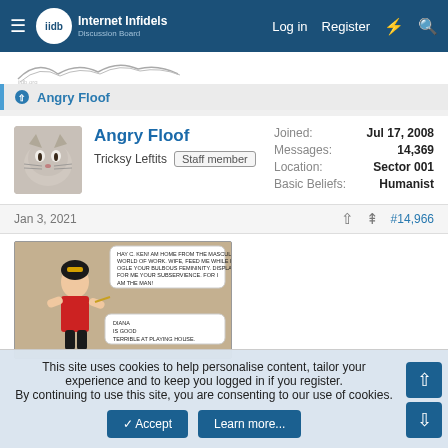Internet Infidels — Log in | Register
[Figure (screenshot): Partial sketch/drawing visible at top]
Angry Floof
Angry Floof
Tricksy Leftits | Staff member
Joined: Jul 17, 2008
Messages: 14,369
Location: Sector 001
Basic Beliefs: Humanist
Jan 3, 2021   ↑  #14,966
[Figure (illustration): Comic strip panel showing Wonder Woman figure with speech bubbles about masculine world of work and playing house]
This site uses cookies to help personalise content, tailor your experience and to keep you logged in if you register.
By continuing to use this site, you are consenting to our use of cookies.
✓ Accept | Learn more...